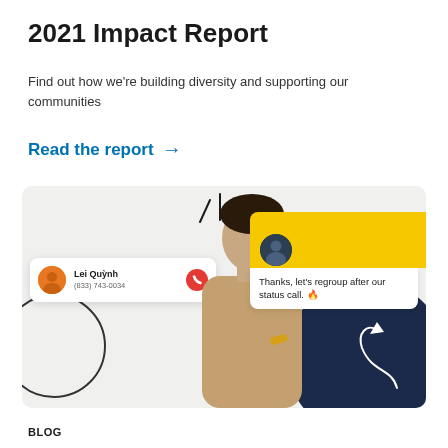2021 Impact Report
Find out how we're building diversity and supporting our communities
Read the report →
[Figure (screenshot): Promotional image showing a man pointing upward, with a UI overlay of a phone call card (Lei Quỳnh, (833) 743-0034) and a message card saying 'Thanks, let's regroup after our status call. 🔥', set against a light grey background with navy blue semicircle and decorative elements.]
BLOG